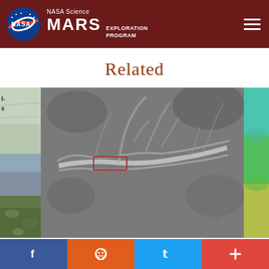NASA Science MARS EXPLORATION PROGRAM
Related
[Figure (photo): Partial view of a colorized surface image strip on the left edge, showing green and blue-toned terrain]
[Figure (photo): Grayscale aerial/orbital image of Mars surface showing a prominent ridge or channel with jagged edges running diagonally, with a small red rectangle highlight near the center-left]
[Figure (photo): Partial colorized image on the right edge showing teal and green tones]
f  reddit  Twitter  +